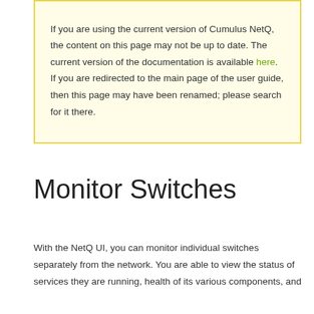If you are using the current version of Cumulus NetQ, the content on this page may not be up to date. The current version of the documentation is available here. If you are redirected to the main page of the user guide, then this page may have been renamed; please search for it there.
Monitor Switches
With the NetQ UI, you can monitor individual switches separately from the network. You are able to view the status of services they are running, health of its various components, and